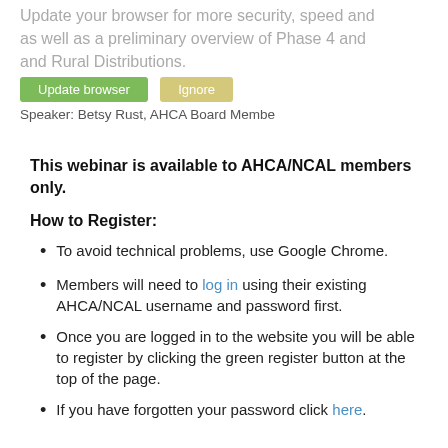Update your browser for more security, speed and the best experience on this site. as well as a preliminary overview of Phase 4 and Rural Distributions. Speaker: Betsy Rust, AHCA Board Membe
This webinar is available to AHCA/NCAL members only.
How to Register:
To avoid technical problems, use Google Chrome.
Members will need to log in using their existing AHCA/NCAL username and password first.
Once you are logged in to the website you will be able to register by clicking the green register button at the top of the page.
If you have forgotten your password click here.